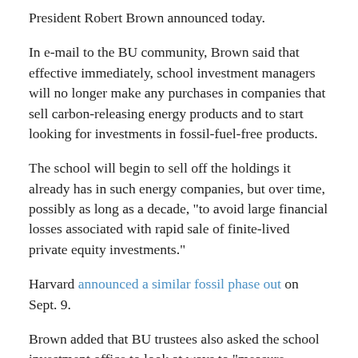President Robert Brown announced today.
In e-mail to the BU community, Brown said that effective immediately, school investment managers will no longer make any purchases in companies that sell carbon-releasing energy products and to start looking for investments in fossil-fuel-free products.
The school will begin to sell off the holdings it already has in such energy companies, but over time, possibly as long as a decade, "to avoid large financial losses associated with rapid sale of finite-lived private equity investments."
Harvard announced a similar fossil phase out on Sept. 9.
Brown added that BU trustees also asked the school investment office to look at ways to "measure greenhouse gas emissions generated by the endowment investment managers' underlying corporate holdings" and to come up with ways to offset those entities' net emissions," with the idea of moving